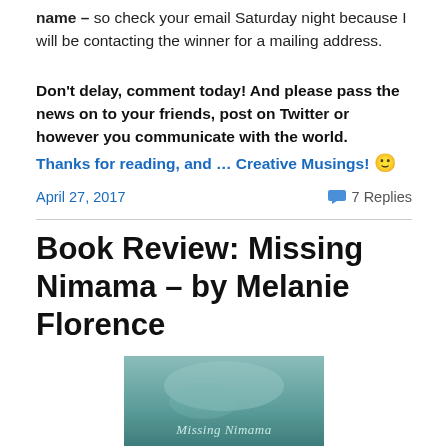name – so check your email Saturday night because I will be contacting the winner for a mailing address.
Don't delay, comment today! And please pass the news on to your friends, post on Twitter or however you communicate with the world.
Thanks for reading, and … Creative Musings! 🙂
April 27, 2017
7 Replies
Book Review: Missing Nimama – by Melanie Florence
[Figure (photo): Book cover of 'Missing Nimama' showing teal/blue tones with text 'Missing Nimama' at the bottom]